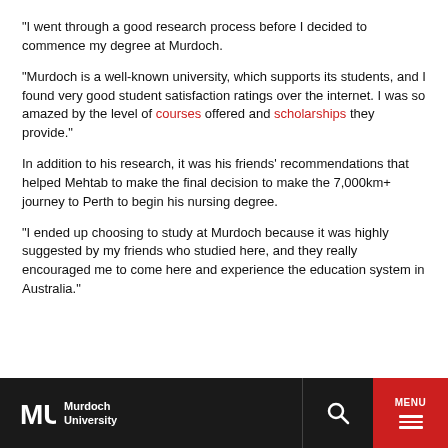“I went through a good research process before I decided to commence my degree at Murdoch.
“Murdoch is a well-known university, which supports its students, and I found very good student satisfaction ratings over the internet. I was so amazed by the level of courses offered and scholarships they provide.”
In addition to his research, it was his friends’ recommendations that helped Mehtab to make the final decision to make the 7,000km+ journey to Perth to begin his nursing degree.
“I ended up choosing to study at Murdoch because it was highly suggested by my friends who studied here, and they really encouraged me to come here and experience the education system in Australia.”
Murdoch University | MENU